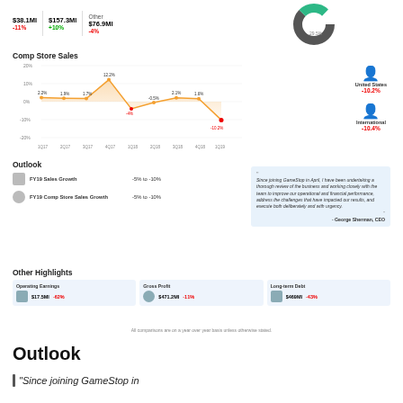[Figure (other): Top strip showing financial metrics: $38.1Ml -11%, $157.3Ml +10%, Other $76.9Ml -4%, and partial donut chart]
Comp Store Sales
[Figure (area-chart): Comp Store Sales]
Outlook
FY19 Sales Growth  -5% to -10%
FY19 Comp Store Sales Growth  -5% to -10%
"Since joining GameStop in April, I have been undertaking a thorough review of the business and working closely with the team to improve our operational and financial performance, address the challenges that have impacted our results, and execute both deliberately and with urgency. - George Sherman, CEO
Other Highlights
Operating Earnings $17.5Ml -62%
Gross Profit $471.2Ml -11%
Long-term Debt $469Ml -43%
All comparisons are on a year over year basis unless otherwise stated.
Outlook
"Since joining GameStop in